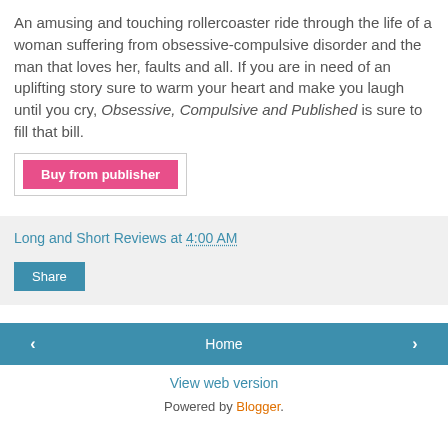An amusing and touching rollercoaster ride through the life of a woman suffering from obsessive-compulsive disorder and the man that loves her, faults and all. If you are in need of an uplifting story sure to warm your heart and make you laugh until you cry, Obsessive, Compulsive and Published is sure to fill that bill.
[Figure (other): Pink 'Buy from publisher' button inside a light bordered box]
Long and Short Reviews at 4:00 AM
[Figure (other): Blue 'Share' button]
[Figure (other): Navigation row with left arrow button, Home button, and right arrow button]
View web version
Powered by Blogger.